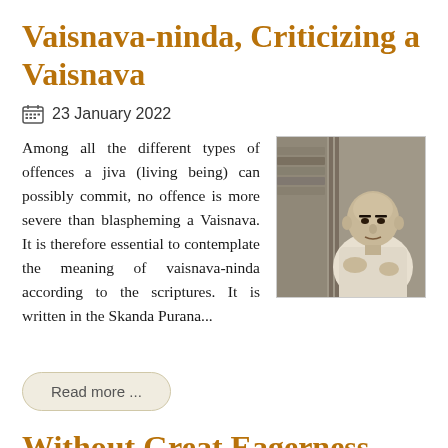Vaisnava-ninda, Criticizing a Vaisnava
23 January 2022
Among all the different types of offences a jiva (living being) can possibly commit, no offence is more severe than blaspheming a Vaisnava. It is therefore essential to contemplate the meaning of vaisnava-ninda according to the scriptures. It is written in the Skanda Purana...
[Figure (photo): Black and white photograph of a man in white garments seated]
Read more ...
Without Great Eagerness